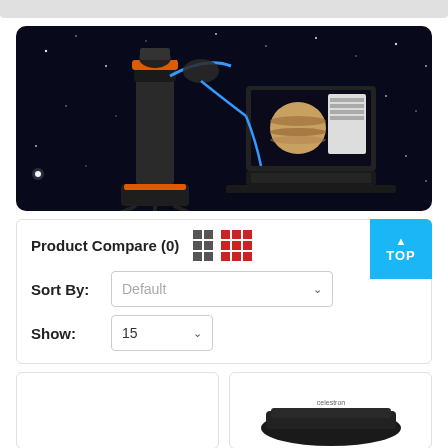[Figure (photo): Telescope with camera attached connected via cable to a laptop showing Jupiter, set against a starry night sky background]
Product Compare (0)
[Figure (other): TOP button - scroll to top button in blue]
Sort By: Default
Show: 15
[Figure (photo): Product card placeholder - left product]
[Figure (photo): Product card - right product showing a dark electronic device]